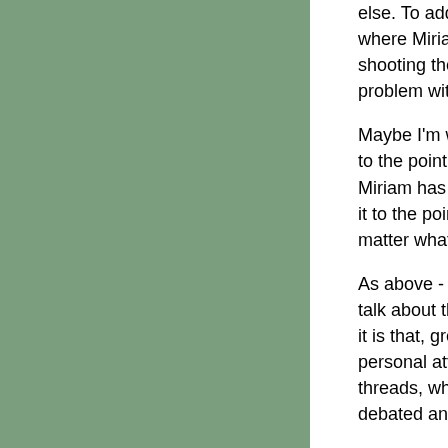else. To add to the cliches I listed above, isnt this a case where Miriam, Pat, Chris and Iosaf are concerned, of shooting the messenger because the news (that there is a problem with women becoming editors) is unpopular.

Maybe I'm wrong, but the debate almost seems to have got to the point where people agree (reluctantly) with what Miriam has to say, but they sure as hell resent her for it to the point that the wagons have circled against her no matter what.

As above - can't we put the personal insults aside and talk about the issues. If I had a criticism of indymedia it is that, great site that it is, it has a culture of slagging, personal attacks and criticism voiced very accusingly in threads, which seems unnecessarily hostile. Could this be debated and some rules set?

What seems a pity is that the current editors are genuinely (sorry if I seemed to accuse above) in wanting to resolve these issues but we are locked into the past. The chief issue imo is the editor block sytem - thinking back, what if P hadnt (alone) blocked Miriam as editor before the reactions started being fired. What if Robbie S hadnt (alone) blocked Paula as editor, compounding the problem of apparent sexism in choosing editors.

Here's an idea - Robbie, how about admitting that you got this one badly wrong???